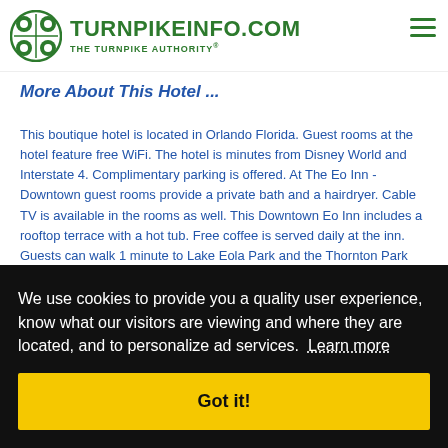TURNPIKEINFO.COM THE TURNPIKE AUTHORITY®
More About This Hotel ...
This boutique hotel is located in Orlando Florida. Guest rooms at the hotel feature free WiFi. The hotel is minutes from Disney World and Interstate 4. Complimentary parking is offered. At The Eo Inn - Downtown guest rooms provide a private bath and a hairdryer. Cable TV is available in the rooms as well. This Downtown Eo Inn includes a rooftop terrace with a hot tub. Free coffee is served daily at the inn. Guests can walk 1 minute to Lake Eola Park and the Thornton Park restaurant and boutique district. The inn is also 16 mi from SeaWorld.
We use cookies to provide you a quality user experience, know what our visitors are viewing and where they are located, and to personalize ad services. Learn more
Got it!